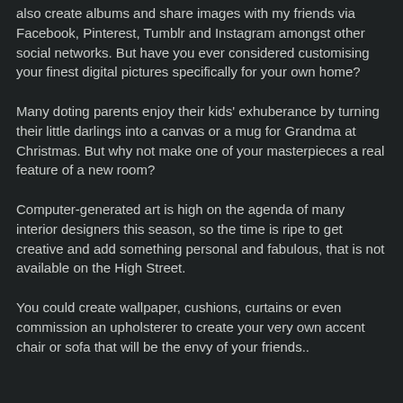also create albums and share images with my friends via Facebook, Pinterest, Tumblr and Instagram amongst other social networks. But have you ever considered customising your finest digital pictures specifically for your own home?
Many doting parents enjoy their kids' exhuberance by turning their little darlings into a canvas or a mug for Grandma at Christmas. But why not make one of your masterpieces a real feature of a new room?
Computer-generated art is high on the agenda of many interior designers this season, so the time is ripe to get creative and add something personal and fabulous, that is not available on the High Street.
You could create wallpaper, cushions, curtains or even commission an upholsterer to create your very own accent chair or sofa that will be the envy of your friends..